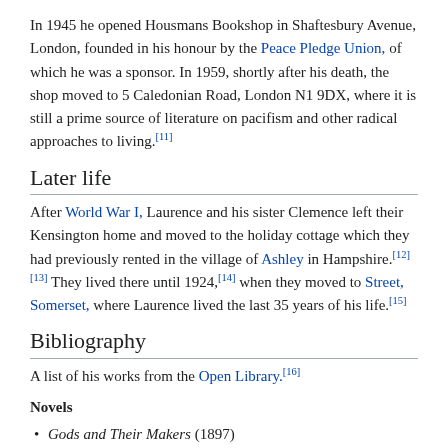In 1945 he opened Housmans Bookshop in Shaftesbury Avenue, London, founded in his honour by the Peace Pledge Union, of which he was a sponsor. In 1959, shortly after his death, the shop moved to 5 Caledonian Road, London N1 9DX, where it is still a prime source of literature on pacifism and other radical approaches to living.[11]
Later life
After World War I, Laurence and his sister Clemence left their Kensington home and moved to the holiday cottage which they had previously rented in the village of Ashley in Hampshire.[12][13] They lived there until 1924,[14] when they moved to Street, Somerset, where Laurence lived the last 35 years of his life.[15]
Bibliography
A list of his works from the Open Library.[16]
Novels
Gods and Their Makers (1897)